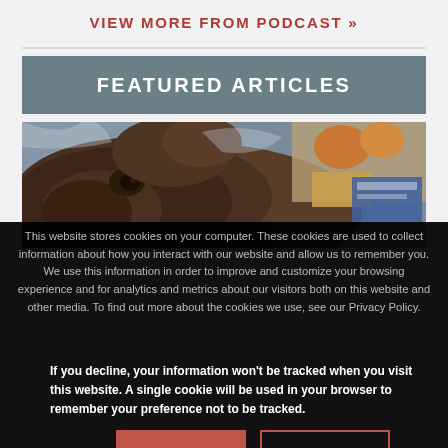VIEW MORE FROM PODCAST »
FEATURED ARTICLES
[Figure (photo): Close-up photo of a wild boar or similar animal face, with orange/amber colored items and plastic bags visible in the background]
This website stores cookies on your computer. These cookies are used to collect information about how you interact with our website and allow us to remember you. We use this information in order to improve and customize your browsing experience and for analytics and metrics about our visitors both on this website and other media. To find out more about the cookies we use, see our Privacy Policy.
If you decline, your information won't be tracked when you visit this website. A single cookie will be used in your browser to remember your preference not to be tracked.
Accept
Decline